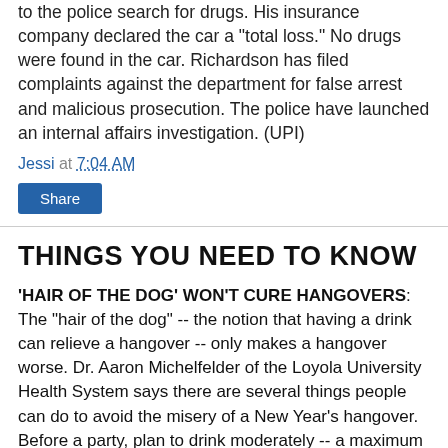to the police search for drugs. His insurance company declared the car a "total loss." No drugs were found in the car. Richardson has filed complaints against the department for false arrest and malicious prosecution. The police have launched an internal affairs investigation. (UPI)
Jessi at 7:04 AM
Share
THINGS YOU NEED TO KNOW
'HAIR OF THE DOG' WON'T CURE HANGOVERS: The "hair of the dog" -- the notion that having a drink can relieve a hangover -- only makes a hangover worse. Dr. Aaron Michelfelder of the Loyola University Health System says there are several things people can do to avoid the misery of a New Year's hangover. Before a party, plan to drink moderately -- a maximum of five drinks for men and three drinks for women during a minimum 3-hour period -- and to prevent inflammation, take an anti-inflammatory drug such as ibuprofen or Aleve. After the party, Michelfelder reminds